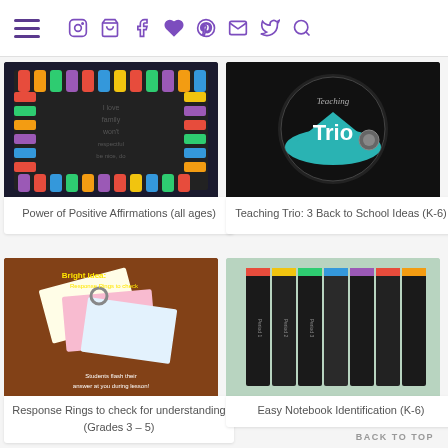Navigation bar with hamburger menu and social icons (Instagram, cart, Facebook, heart, Pinterest, mail, Twitter, search)
[Figure (photo): Colorful paper hands border on dark background with positive affirmation words]
Power of Positive Affirmations (all ages)
[Figure (photo): Teaching Trio logo - circular badge on black background with teal mountain design]
Teaching Trio: 3 Back to School Ideas (K-6)
[Figure (photo): Bright Idea: Response Rings to check - colorful index cards on a ring on wooden table]
Response Rings to check for understanding (Grades 3 - 5)
[Figure (photo): Stack of dark notebooks/binders with colorful tabs against green wall]
Easy Notebook Identification (K-6)
[Figure (photo): Maneuvering the Middle - partial view of decorative text/logo]
[Figure (photo): Tools for... - partial view of supplies image]
BACK TO TOP